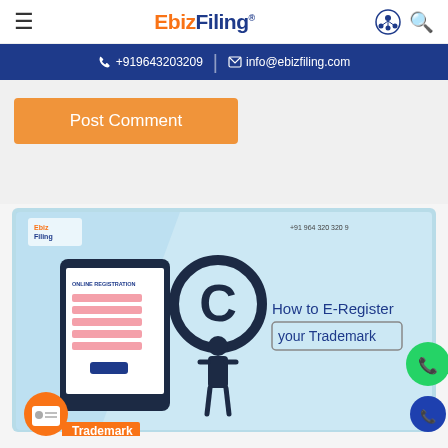EbizFiling® | +919643203209 | info@ebizfiling.com
Post Comment
[Figure (illustration): EbizFiling promotional banner showing a person holding a copyright symbol next to a tablet with 'Online Registration' text, with the caption 'How to E-Register your Trademark'. Phone number +91 964 320 320 9 shown. Orange contact card circle and green WhatsApp circle overlaid.]